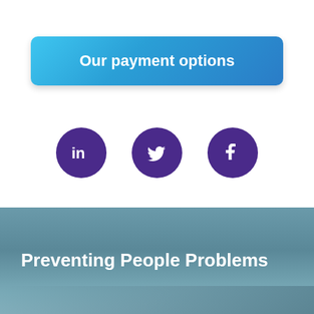Our payment options
[Figure (illustration): Three circular purple social media icons: LinkedIn (in), Twitter (bird), and Facebook (f)]
Preventing People Problems